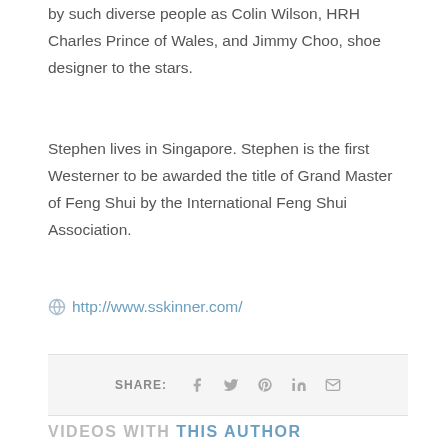by such diverse people as Colin Wilson, HRH Charles Prince of Wales, and Jimmy Choo, shoe designer to the stars.
Stephen lives in Singapore. Stephen is the first Westerner to be awarded the title of Grand Master of Feng Shui by the International Feng Shui Association.
http://www.sskinner.com/
SHARE:
VIDEOS WITH THIS AUTHOR